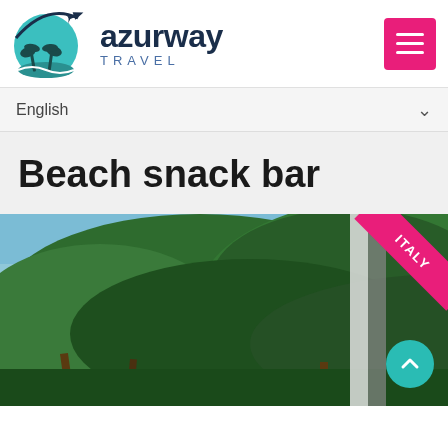[Figure (logo): Azurway Travel logo with circular globe/palm tree icon and airplane silhouette]
English
Beach snack bar
[Figure (photo): Outdoor beach scene with lush green pine trees against a blue sky, an ITALY ribbon badge in the top-right corner, and a teal scroll-up button at bottom-right]